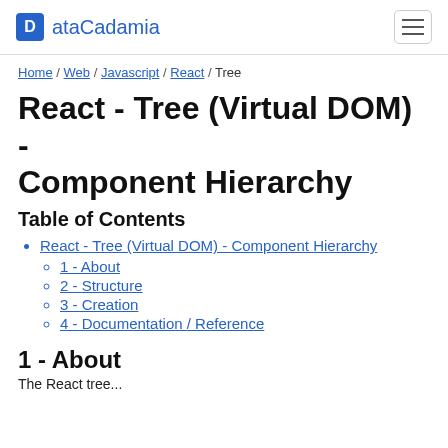ataCadamia
Home / Web / Javascript / React / Tree
React - Tree (Virtual DOM) - Component Hierarchy
Table of Contents
React - Tree (Virtual DOM) - Component Hierarchy
1 - About
2 - Structure
3 - Creation
4 - Documentation / Reference
1 - About
The React tree...